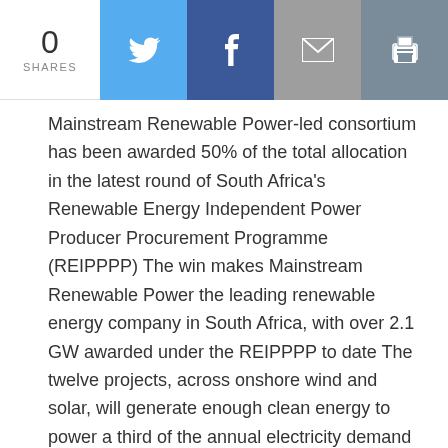0 SHARES | Twitter | Facebook | Email | Print
Mainstream Renewable Power-led consortium has been awarded 50% of the total allocation in the latest round of South Africa's Renewable Energy Independent Power Producer Procurement Programme (REIPPPP) The win makes Mainstream Renewable Power the leading renewable energy company in South Africa, with over 2.1 GW awarded under the REIPPPP to date The twelve projects, across onshore wind and solar, will generate enough clean energy to power a third of the annual electricity demand of the City of Cape Town [...]
READ MORE
Energy
Environment
Featured
Innovation